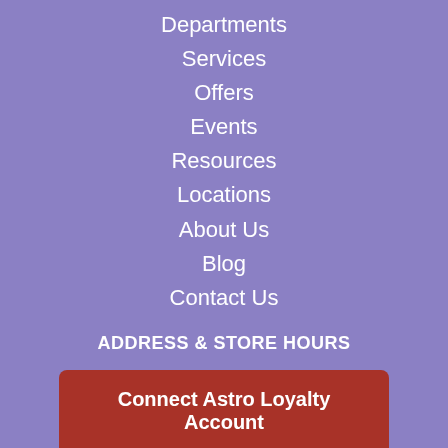Departments
Services
Offers
Events
Resources
Locations
About Us
Blog
Contact Us
ADDRESS & STORE HOURS
12512 W Ken Caryl Ave
Littleton, CO 80127
Connect Astro Loyalty Account